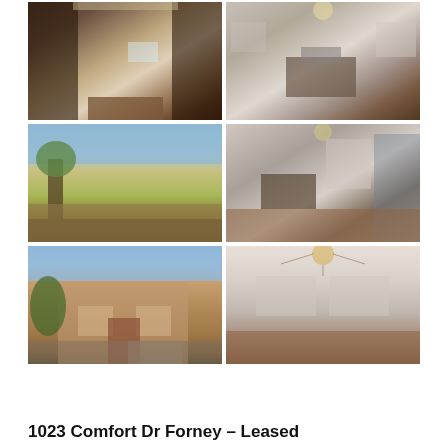[Figure (photo): Kitchen interior with dark cabinets and hardwood floors]
[Figure (photo): Living room interior with fireplace and ceiling fan]
[Figure (photo): Backyard with trees and fence]
[Figure (photo): Open plan living area with fireplace and kitchen visible]
[Figure (photo): Exterior front view of two-story brick house]
[Figure (photo): Empty room with hardwood floors and ceiling fan]
1023 Comfort Dr Forney – Leased